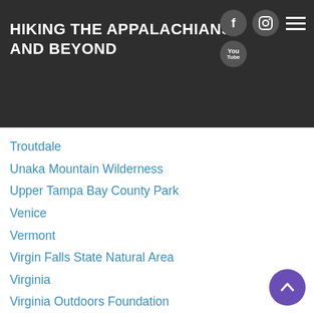HIKING THE APPALACHIANS AND BEYOND
Troutdale
Unaka Mountain Wilderness
Upper Tampa Bay County Park
Venice
Vermont
Virgin Falls State Natural Area
Virginia
Virginia Outdoors Foundation
Vogel State Park
Wakulla Springs State Park
Waleska
Walhalla
Wartburg
Water Features
Waynesville